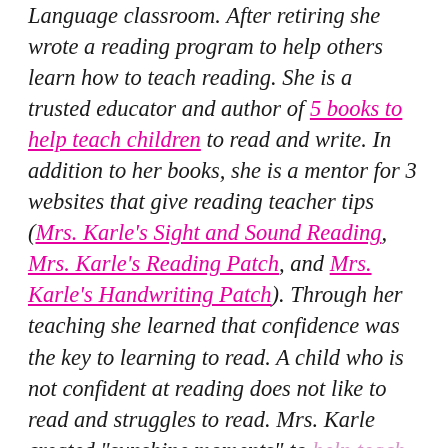Language classroom. After retiring she wrote a reading program to help others learn how to teach reading. She is a trusted educator and author of 5 books to help teach children to read and write. In addition to her books, she is a mentor for 3 websites that give reading teacher tips (Mrs. Karle's Sight and Sound Reading, Mrs. Karle's Reading Patch, and Mrs. Karle's Handwriting Patch). Through her teaching she learned that confidence was the key to learning to read. A child who is not confident at reading does not like to read and struggles to read. Mrs. Karle created "sunshine moments" to help teach children how to grow their